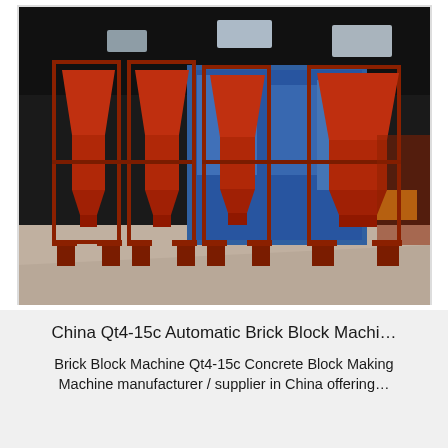[Figure (photo): Industrial brick block making machines in a factory warehouse. Multiple red hopper/funnel-shaped aggregate bins on red steel frame stands are arranged in rows. Blue-painted machinery is visible in the background. The warehouse has a dark ceiling with skylights. The floor is concrete.]
China Qt4-15c Automatic Brick Block Machi…
Brick Block Machine Qt4-15c Concrete Block Making Machine manufacturer / supplier in China offering…